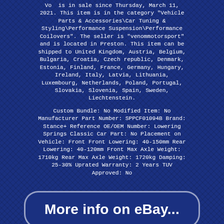Vo is in sale since Thursday, March 11, 2021. This item is in the category "Vehicle Parts & Accessories\Car Tuning & Styling\Performance Suspension\Performance Coilovers". The seller is "venommotorsport" and is located in Preston. This item can be shipped to United Kingdom, Austria, Belgium, Bulgaria, Croatia, Czech republic, Denmark, Estonia, Finland, France, Germany, Hungary, Ireland, Italy, Latvia, Lithuania, Luxembourg, Netherlands, Poland, Portugal, Slovakia, Slovenia, Spain, Sweden, Liechtenstein.
Custom Bundle: No Modified Item: No Manufacturer Part Number: SPPCF01094B Brand: Stance+ Reference OE/OEM Number: Lowering Springs Classic Car Part: No Placement on Vehicle: Front Front Lowering: 40-150mm Rear Lowering: 40-120mm Front Max Axle Weight: 1710kg Rear Max Axle Weight: 1720kg Damping: 25-30% Uprated Warranty: 2 Years TUV Approved: No
[Figure (other): A rounded rectangle button with text 'More info on eBay...' in bold white font on a dark blue background]